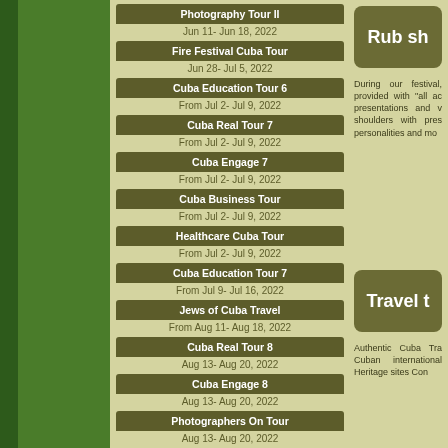Photography Tour II
Jun 11- Jun 18, 2022
Fire Festival Cuba Tour
Jun 28- Jul 5, 2022
Cuba Education Tour 6
From Jul 2- Jul 9, 2022
Cuba Real Tour 7
From Jul 2- Jul 9, 2022
Cuba Engage 7
From Jul 2- Jul 9, 2022
Cuba Business Tour
From Jul 2- Jul 9, 2022
Healthcare Cuba Tour
From Jul 2- Jul 9, 2022
Cuba Education Tour 7
From Jul 9- Jul 16, 2022
Jews of Cuba Travel
From Aug 11- Aug 18, 2022
Cuba Real Tour 8
Aug 13- Aug 20, 2022
Cuba Engage 8
Aug 13- Aug 20, 2022
Photographers On Tour
Aug 13- Aug 20, 2022
Rub sh
During our festival, provided with "all ac presentations and v shoulders with pres personalities and mo
Travel t
Authentic Cuba Tra Cuban international Heritage sites Con